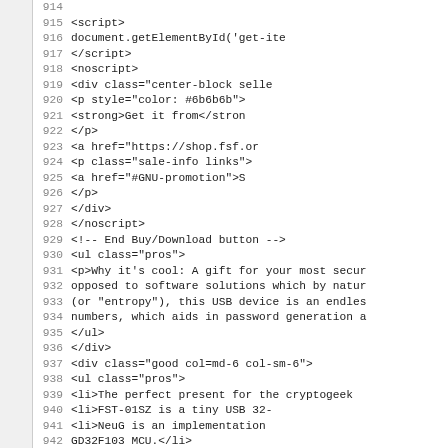[Figure (screenshot): Source code viewer showing HTML/template code with line numbers 914-946. Lines show script tags, noscript blocks, div elements, list items, and HTML comments. The left side has a grey line number gutter.]